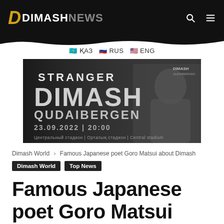DIMASH NEWS
🇰🇿 ҚАЗ 🇷🇺 RUS 🇺🇸 ENG
[Figure (photo): Promotional banner for Dimash Qudaibergen 'Stranger' concert on 23.09.2022 at 20:00, Central stadium. Text reads: STRANGER DIMASH QUDAIBERGEN 23.09.2022 | 20:00 Центральный стадион | Орталық стадион | Central stadium]
Dimash World › Famous Japanese poet Goro Matsui about Dimash
Dimash World  Top News
Famous Japanese poet Goro Matsui